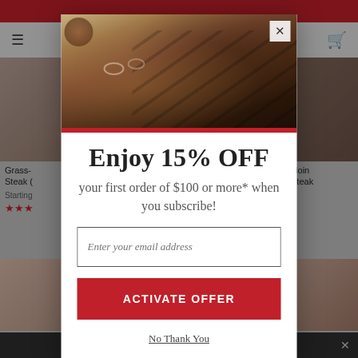[Figure (screenshot): E-commerce website background showing a meat/steak product page with red header, navigation bar, product images, and a dark footer bar]
[Figure (photo): Modal popup header image showing sliced smoked brisket on a cutting board with sauce, onion rings, and peppers]
Enjoy 15% OFF
your first order of $100 or more* when you subscribe!
Enter your email address
ACTIVATE OFFER
No Thank You